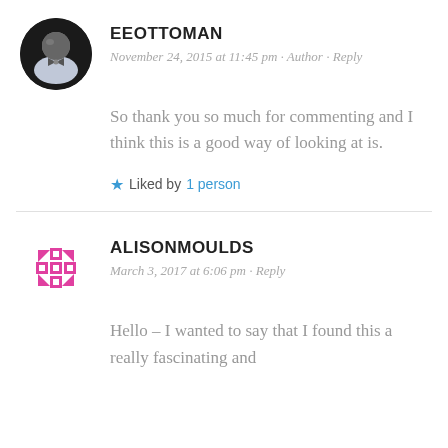[Figure (photo): Circular avatar photo of eeottoman user, showing a person in formal wear with a bow tie, dark tones]
EEOTTOMAN
November 24, 2015 at 11:45 pm · Author · Reply
So thank you so much for commenting and I think this is a good way of looking at is.
Liked by 1 person
[Figure (logo): Circular avatar for alisonmoulds, a magenta/pink geometric snowflake or quilt-pattern icon]
ALISONMOULDS
March 3, 2017 at 6:06 pm · Reply
Hello – I wanted to say that I found this a really fascinating and